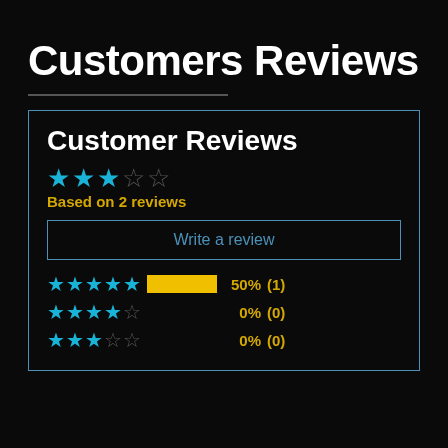Customers Reviews
Customer Reviews
Based on 2 reviews
Write a review
| Stars | Bar | Percent | Count |
| --- | --- | --- | --- |
| 5 stars | 50% | 50% | (1) |
| 4 stars | 0% | 0% | (0) |
| 3 stars | 0% | 0% | (0) |